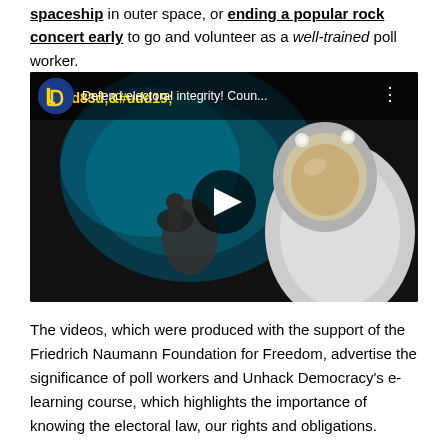spaceship in outer space, or ending a popular rock concert early to go and volunteer as a well-trained poll worker.
[Figure (screenshot): YouTube video thumbnail showing an astronaut in a spacesuit giving a thumbs up, with overlay title 'Defend electoral integrity! Coun...' and a play button in the center.]
The videos, which were produced with the support of the Friedrich Naumann Foundation for Freedom, advertise the significance of poll workers and Unhack Democracy's e-learning course, which highlights the importance of knowing the electoral law, our rights and obligations.